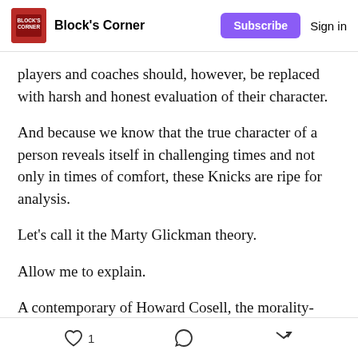Block's Corner | Subscribe | Sign in
players and coaches should, however, be replaced with harsh and honest evaluation of their character.
And because we know that the true character of a person reveals itself in challenging times and not only in times of comfort, these Knicks are ripe for analysis.
Let’s call it the Marty Glickman theory.
Allow me to explain.
A contemporary of Howard Cosell, the morality-driven Glickman — the antithesis of the bombastic broadcaster — still lives on through many of today’s
1 [like] [comment] [share]